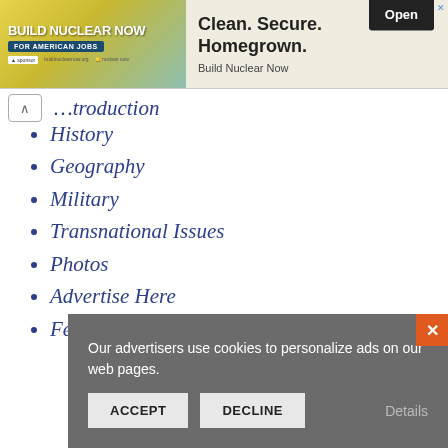[Figure (screenshot): Advertisement banner for 'Build Nuclear Now' — left side shows yellow/teal graphic with text 'BUILD NUCLEAR NOW FOR AMERICAN JOBS'; right side shows 'Clean. Secure. Homegrown.' headline with 'Build Nuclear Now' subtext and an 'Open' button.]
...troduction
History
Geography
Military
Transnational Issues
Photos
Advertise Here
Feedback
Our advertisers use cookies to personalize ads on our web pages.